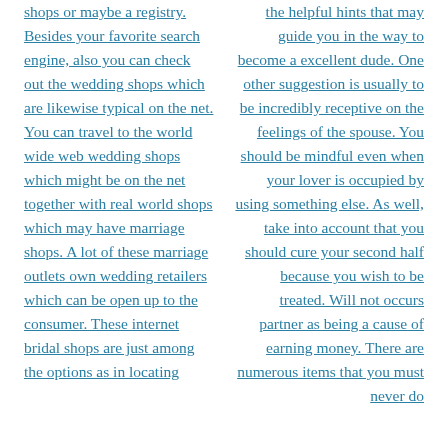shops or maybe a registry. Besides your favorite search engine, also you can check out the wedding shops which are likewise typical on the net. You can travel to the world wide web wedding shops which might be on the net together with real world shops which may have marriage shops. A lot of these marriage outlets own wedding retailers which can be open up to the consumer. These internet bridal shops are just among the options as in locating
the helpful hints that may guide you in the way to become a excellent dude. One other suggestion is usually to be incredibly receptive on the feelings of the spouse. You should be mindful even when your lover is occupied by using something else. As well, take into account that you should cure your second half because you wish to be treated. Will not occurs partner as being a cause of earning money. There are numerous items that you must never do